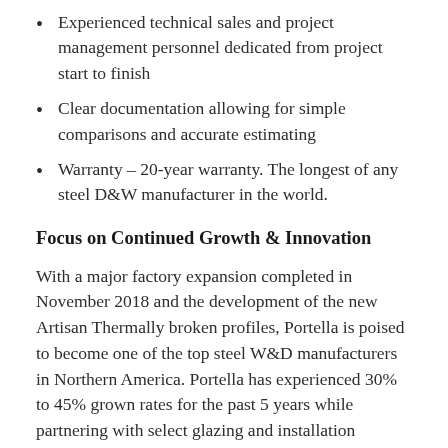Experienced technical sales and project management personnel dedicated from project start to finish
Clear documentation allowing for simple comparisons and accurate estimating
Warranty – 20-year warranty. The longest of any steel D&W manufacturer in the world.
Focus on Continued Growth & Innovation
With a major factory expansion completed in November 2018 and the development of the new Artisan Thermally broken profiles, Portella is poised to become one of the top steel W&D manufacturers in Northern America. Portella has experienced 30% to 45% grown rates for the past 5 years while partnering with select glazing and installation companies in NY, DC and CA. Portella plans on building more of these relationships in